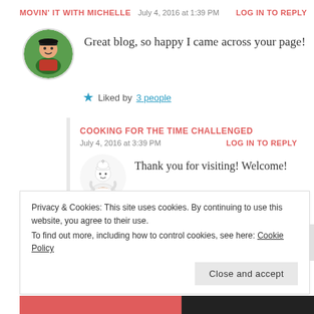MOVIN' IT WITH MICHELLE   July 4, 2016 at 1:39 PM   LOG IN TO REPLY
Great blog, so happy I came across your page!
Liked by 3 people
COOKING FOR THE TIME CHALLENGED
July 4, 2016 at 3:39 PM   LOG IN TO REPLY
Thank you for visiting! Welcome!
Liked by 1 person
Privacy & Cookies: This site uses cookies. By continuing to use this website, you agree to their use.
To find out more, including how to control cookies, see here: Cookie Policy
Close and accept